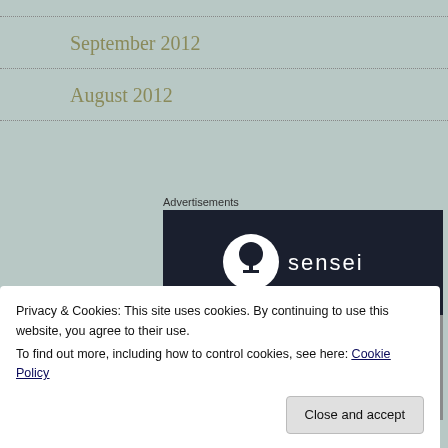September 2012
August 2012
Advertisements
[Figure (logo): Sensei brand advertisement with dark navy background showing a white bonsai tree logo and the word 'sensei', with a grey photograph below showing a person's leg/ankle]
Privacy & Cookies: This site uses cookies. By continuing to use this website, you agree to their use.
To find out more, including how to control cookies, see here: Cookie Policy
Close and accept